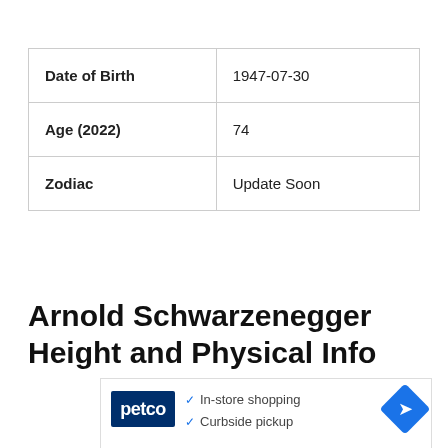|  |  |
| --- | --- |
| Date of Birth | 1947-07-30 |
| Age (2022) | 74 |
| Zodiac | Update Soon |
Arnold Schwarzenegger Height and Physical Info
[Figure (other): Petco advertisement showing logo, In-store shopping and Curbside pickup checkmarks, and a blue diamond arrow icon]